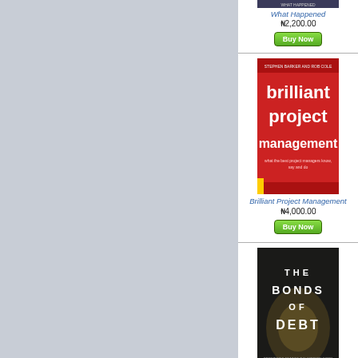[Figure (photo): Book cover for 'What Happened' - partially visible at top]
What Happened
₦2,200.00
Buy Now
[Figure (photo): Book cover for 'Brilliant Project Management' - red cover with white text]
Brilliant Project Management
₦4,000.00
Buy Now
[Figure (photo): Book cover for 'The Bonds of Debt' - dark cover with hands]
The Bonds of Debt
₦900.00
Buy Now
[Figure (photo): Partial book cover visible at bottom - beige/tan colored book]